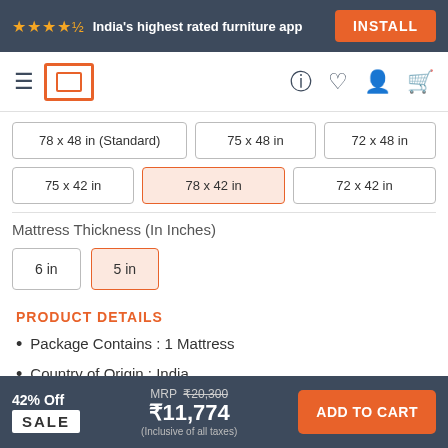★★★★½ India's highest rated furniture app  INSTALL
[Figure (screenshot): Navigation bar with hamburger menu, logo, help, wishlist, account, and cart icons]
78 x 48 in (Standard)   75 x 48 in   72 x 48 in
75 x 42 in   78 x 42 in (selected)   72 x 42 in
Mattress Thickness (In Inches)
6 in   5 in (selected)
PRODUCT DETAILS
Package Contains : 1 Mattress
Country of Origin : India
42% Off  SALE   MRP ₹20,300  ₹11,774  (Inclusive of all taxes)  ADD TO CART